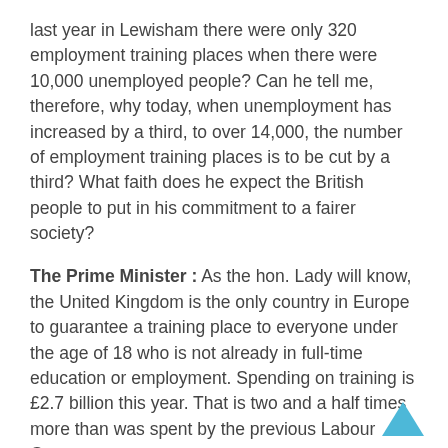last year in Lewisham there were only 320 employment training places when there were 10,000 unemployed people? Can he tell me, therefore, why today, when unemployment has increased by a third, to over 14,000, the number of employment training places is to be cut by a third? What faith does he expect the British people to put in his commitment to a fairer society?
The Prime Minister : As the hon. Lady will know, the United Kingdom is the only country in Europe to guarantee a training place to everyone under the age of 18 who is not already in full-time education or employment. Spending on training is £2.7 billion this year. That is two and a half times more than was spent by the previous Labour Government.